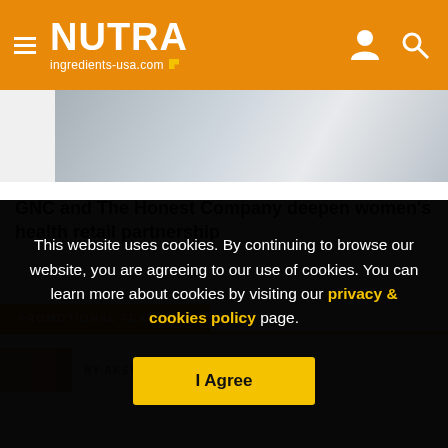NUTRA ingredients-usa.com
[Figure (photo): Partial view of a desk/workspace photo behind article card]
GNC and The Honest Company deepen women's health retail partnership
PROMOTIONAL FEATURES
BY AKER BIOMARINE
This website uses cookies. By continuing to browse our website, you are agreeing to our use of cookies. You can learn more about cookies by visiting our privacy & cookies policy page.